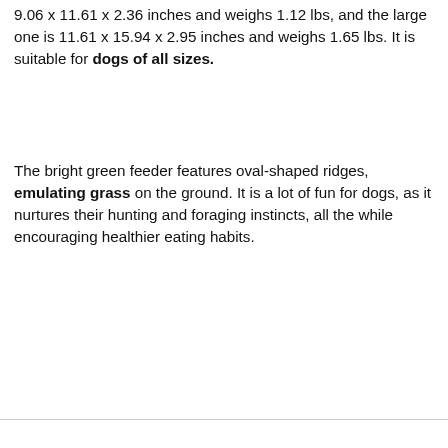9.06 x 11.61 x 2.36 inches and weighs 1.12 lbs, and the large one is 11.61 x 15.94 x 2.95 inches and weighs 1.65 lbs. It is suitable for dogs of all sizes.
The bright green feeder features oval-shaped ridges, emulating grass on the ground. It is a lot of fun for dogs, as it nurtures their hunting and foraging instincts, all the while encouraging healthier eating habits.